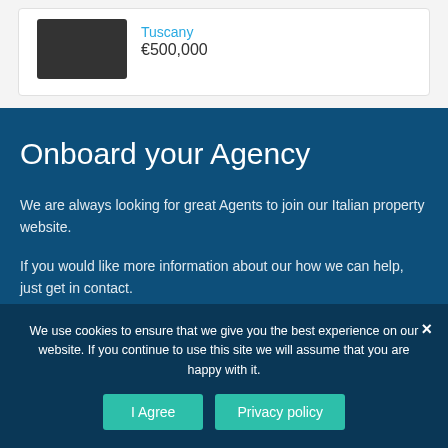Tuscany
€500,000
Onboard your Agency
We are always looking for great Agents to join our Italian property website.
If you would like more information about our how we can help, just get in contact.
We use cookies to ensure that we give you the best experience on our website. If you continue to use this site we will assume that you are happy with it.
I Agree
Privacy policy